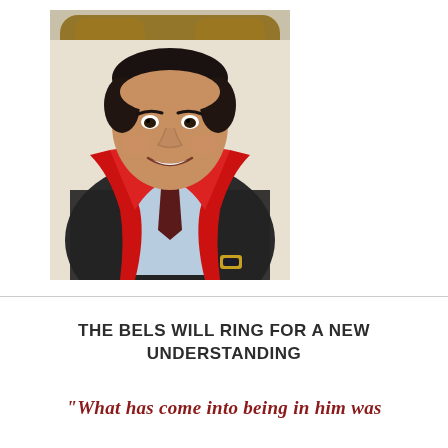[Figure (photo): Portrait photo of a middle-aged man with dark hair, wearing a dark plaid blazer, light blue dress shirt, dark red/maroon tie, and a bright red scarf draped over his shoulders. He is smiling broadly and seated in a chair. He wears a watch on his left wrist. Background shows a wooden chair back.]
THE BELS WILL RING FOR A NEW UNDERSTANDING
“What has come into being in him was